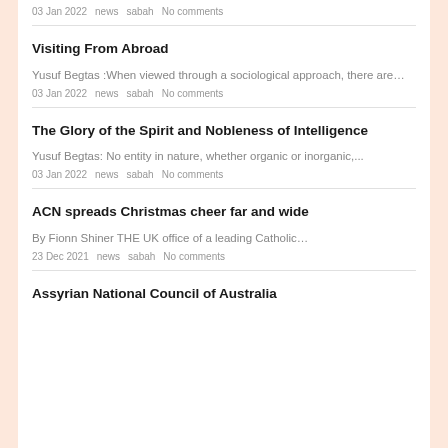03 Jan 2022   news   sabah   No comments
Visiting From Abroad
Yusuf Begtas :When viewed through a sociological approach, there are…
03 Jan 2022   news   sabah   No comments
The Glory of the Spirit and Nobleness of Intelligence
Yusuf Begtas: No entity in nature, whether organic or inorganic,...
03 Jan 2022   news   sabah   No comments
ACN spreads Christmas cheer far and wide
By Fionn Shiner THE UK office of a leading Catholic…
23 Dec 2021   news   sabah   No comments
Assyrian National Council of Australia